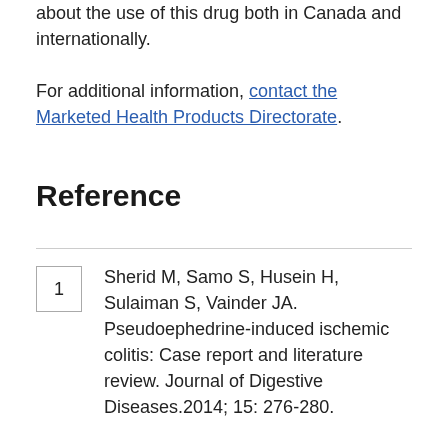about the use of this drug both in Canada and internationally.
For additional information, contact the Marketed Health Products Directorate.
Reference
1. Sherid M, Samo S, Husein H, Sulaiman S, Vainder JA. Pseudoephedrine-induced ischemic colitis: Case report and literature review. Journal of Digestive Diseases.2014; 15: 276-280.